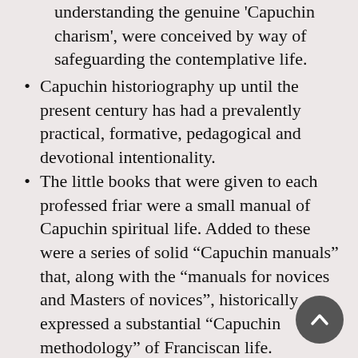understanding the genuine 'Capuchin charism', were conceived by way of safeguarding the contemplative life.
Capuchin historiography up until the present century has had a prevalently practical, formative, pedagogical and devotional intentionality.
The little books that were given to each professed friar were a small manual of Capuchin spiritual life. Added to these were a series of solid “Capuchin manuals” that, along with the “manuals for novices and Masters of novices”, historically expressed a substantial “Capuchin methodology” of Franciscan life.
The ideal of contemplative solitude, even if it first emerged with prevalently individualistic tendencies, for which the “eremitical cell” is recommended in the 1529 Statutes of Albacina and in the 1536 Constitutions, takes